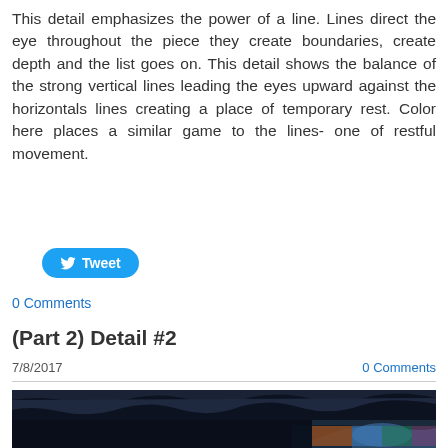This detail emphasizes the power of a line. Lines direct the eye throughout the piece they create boundaries, create depth and the list goes on. This detail shows the balance of the strong vertical lines leading the eyes upward against the horizontals lines creating a place of temporary rest. Color here places a similar game to the lines- one of restful movement.
[Figure (other): Twitter Tweet button with bird icon]
0 Comments
(Part 2) Detail #2
7/8/2017
0 Comments
[Figure (photo): Dark photograph showing trees and a colorful detail, partially visible at the bottom of the page]